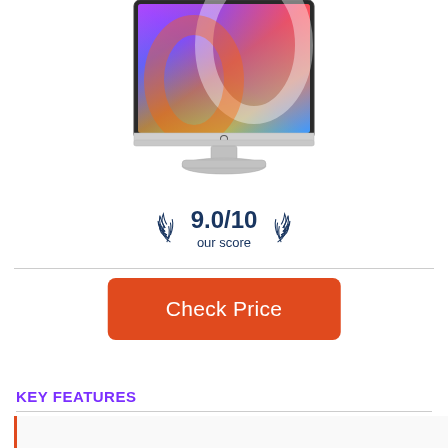[Figure (photo): Apple iMac desktop computer with colorful abstract wallpaper displayed on screen, silver aluminum stand, Apple logo on chin]
[Figure (infographic): Score badge: laurel wreath on left and right, center text reads 9.0/10 our score in dark navy blue]
[Figure (other): Red rounded rectangle button with white text: Check Price]
KEY FEATURES